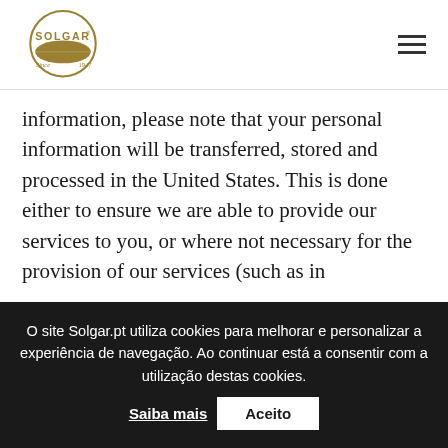[Figure (logo): Solgar brand logo — circular gold emblem with 'SOLGAR' text and 'Since 1947' tagline]
information, please note that your personal information will be transferred, stored and processed in the United States. This is done either to ensure we are able to provide our services to you, or where not necessary for the provision of our services (such as in
O site Solgar.pt utiliza cookies para melhorar e personalizar a experiência de navegação. Ao continuar está a consentir com a utilização destas cookies. Saiba mais  Aceito